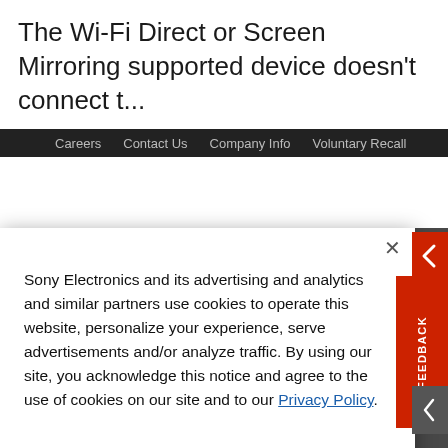The Wi-Fi Direct or Screen Mirroring supported device doesn't connect t...
Careers   Contact Us   Company Info   Voluntary Recall
Sony Electronics and its advertising and analytics and similar partners use cookies to operate this website, personalize your experience, serve advertisements and/or analyze traffic. By using our site, you acknowledge this notice and agree to the use of cookies on our site and to our Privacy Policy.
Manage Cookies